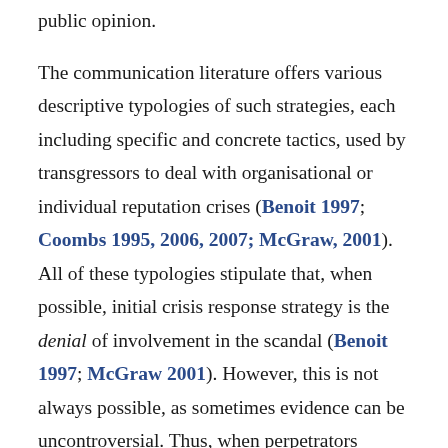public opinion.
The communication literature offers various descriptive typologies of such strategies, each including specific and concrete tactics, used by transgressors to deal with organisational or individual reputation crises (Benoit 1997; Coombs 1995, 2006, 2007; McGraw, 2001). All of these typologies stipulate that, when possible, initial crisis response strategy is the denial of involvement in the scandal (Benoit 1997; McGraw 2001). However, this is not always possible, as sometimes evidence can be uncontroversial. Thus, when perpetrators cannot deny their involvement in a scandal, they can activate the following four strategies (Benoit 1997; McGraw 2001):